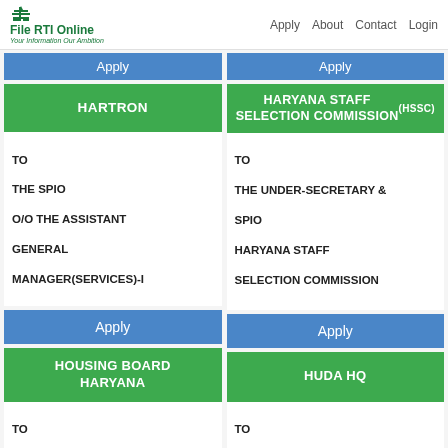File RTI Online - Your Information Our Ambition | Apply About Contact Login
Apply (top button left column)
Apply (top button right column)
HARTRON
HARYANA STAFF SELECTION COMMISSION (HSSC)
TO
THE SPIO
O/O THE ASSISTANT GENERAL MANAGER(SERVICES)-I
TO
THE UNDER-SECRETARY & SPIO
HARYANA STAFF SELECTION COMMISSION
Apply
Apply
HOUSING BOARD HARYANA
HUDA HQ
TO
THE SPIO
XEN (HQ), (CE, TP AND ARCH.BRANCH)
HOUSING BOARD
TO
THE SPIO
O/O THE CHIEF CONTROLLER OF FINANCE
HARYANA URBAN